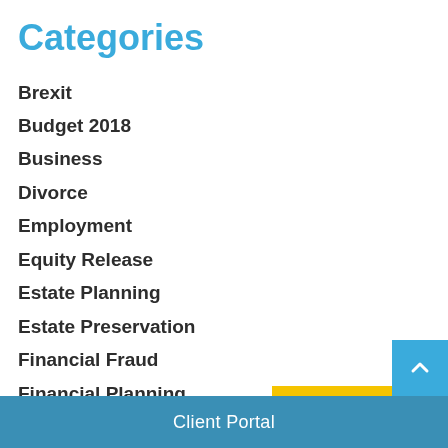Categories
Brexit
Budget 2018
Business
Divorce
Employment
Equity Release
Estate Planning
Estate Preservation
Financial Fraud
Financial Planning
Health & Well-being
Investment
Long-Term Care
Client Portal